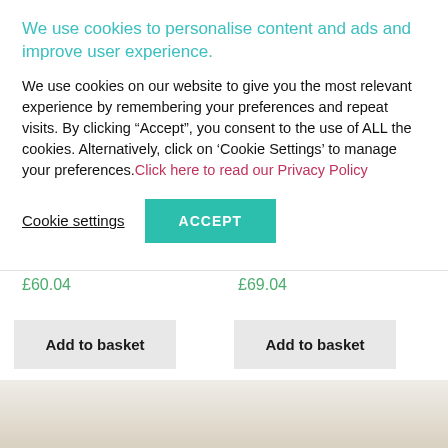We use cookies to personalise content and ads and improve user experience.
We use cookies on our website to give you the most relevant experience by remembering your preferences and repeat visits. By clicking “Accept”, you consent to the use of ALL the cookies. Alternatively, click on ‘Cookie Settings’ to manage your preferences. Click here to read our Privacy Policy
Cookie settings
ACCEPT
£60.04
£69.04
Add to basket
Add to basket
[Figure (photo): Bottom portion of the page showing a partial product image with light beige/tan coloring]